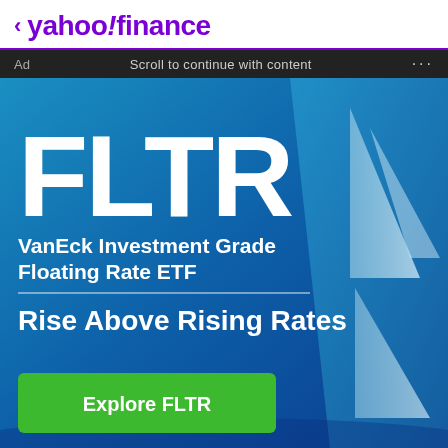< yahoo!finance
Ad   Scroll to continue with content   ...
[Figure (illustration): VanEck FLTR advertisement banner with blue gradient background and sailboat image. Large white bold text reads FLTR, VanEck Investment Grade Floating Rate ETF, Rise Above Rising Rates, with a green Explore FLTR button.]